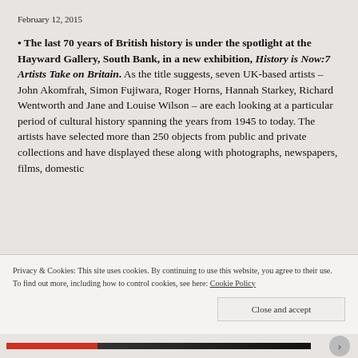February 12, 2015
The last 70 years of British history is under the spotlight at the Hayward Gallery, South Bank, in a new exhibition, History is Now:7 Artists Take on Britain. As the title suggests, seven UK-based artists – John Akomfrah, Simon Fujiwara, Roger Horns, Hannah Starkey, Richard Wentworth and Jane and Louise Wilson – are each looking at a particular period of cultural history spanning the years from 1945 to today. The artists have selected more than 250 objects from public and private collections and have displayed these along with photographs, newspapers, films, domestic
Privacy & Cookies: This site uses cookies. By continuing to use this website, you agree to their use.
To find out more, including how to control cookies, see here: Cookie Policy